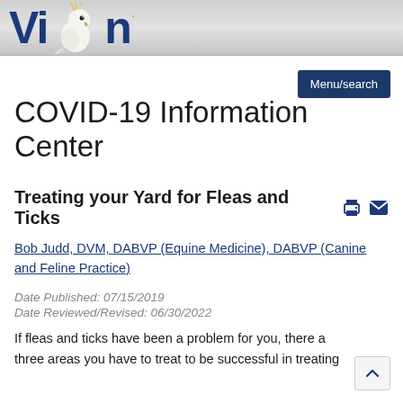VIN logo header bar
Menu/search
COVID-19 Information Center
Treating your Yard for Fleas and Ticks
Bob Judd, DVM, DABVP (Equine Medicine), DABVP (Canine and Feline Practice)
Date Published: 07/15/2019
Date Reviewed/Revised: 06/30/2022
If fleas and ticks have been a problem for you, there are three areas you have to treat to be successful in treating